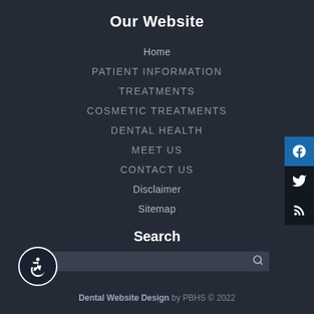Our Website
Home
PATIENT INFORMATION
TREATMENTS
COSMETIC TREATMENTS
DENTAL HEALTH
MEET US
CONTACT US
Disclaimer
Sitemap
Search
[Figure (screenshot): Search input bar with magnifying glass icon]
[Figure (illustration): Social media icons: Facebook, Twitter, RSS feed on right edge]
[Figure (illustration): Accessibility wheelchair icon button in bottom left]
Dental Website Design by PBHS © 2022